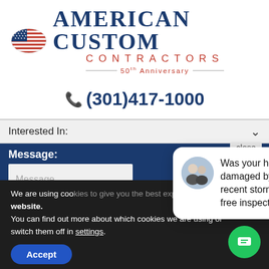[Figure (logo): American Custom Contractors logo with US flag, company name in blue serif, CONTRACTORS in red spaced letters, and 50th Anniversary tagline]
(301)417-1000
[Figure (screenshot): Contact form partial screenshot showing Interested In dropdown and Message field on dark blue background]
[Figure (infographic): Chat popup bubble with two men avatar photo and text: Was your home damaged by the recent storm? Get a free inspection!]
We are using coo... website.
You can find out more about which cookies we are using or switch them off in settings.
[Figure (other): Accept button (blue pill shape) and green chat icon button]